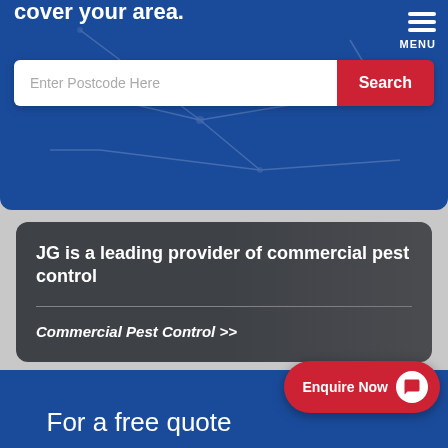[Figure (screenshot): Blue banner with map background, postcode search bar with red Search button, and hamburger MENU icon in top right]
cover your area.
Enter Postcode Here
Search
MENU
JG is a leading provider of commercial pest control
Commercial Pest Control >>
Enquire Now
For a free quote